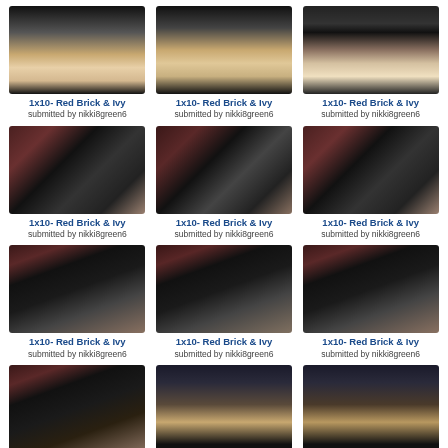[Figure (photo): Grid of TV show screenshots labeled '1x10- Red Brick & Ivy' submitted by nikki8green6. 4 full rows and 1 partial row of 3 columns each showing scenes from a TV show with blonde woman and police officer, and a man's face.]
1x10- Red Brick & Ivy
submitted by nikki8green6
1x10- Red Brick & Ivy
submitted by nikki8green6
1x10- Red Brick & Ivy
submitted by nikki8green6
1x10- Red Brick & Ivy
submitted by nikki8green6
1x10- Red Brick & Ivy
submitted by nikki8green6
1x10- Red Brick & Ivy
submitted by nikki8green6
1x10- Red Brick & Ivy
submitted by nikki8green6
1x10- Red Brick & Ivy
submitted by nikki8green6
1x10- Red Brick & Ivy
submitted by nikki8green6
1x10- Red Brick & Ivy
submitted by nikki8green6
1x10- Red Brick & Ivy
submitted by nikki8green6
1x10- Red Brick & Ivy
submitted by nikki8green6